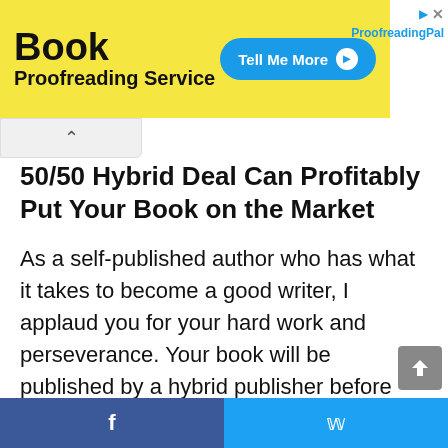[Figure (screenshot): Book Proofreading Service advertisement banner with yellow background, showing 'Tell Me More' button and ProofreadingPal branding]
50/50 Hybrid Deal Can Profitably Put Your Book on the Market
As a self-published author who has what it takes to become a good writer, I applaud you for your hard work and perseverance. Your book will be published by a hybrid publisher before the end of the year, or you will throw your hands up in the air and save your time for more important things. Although self-publishing can be costly and time-consuming, you'll still be able to obtain all the value of having a